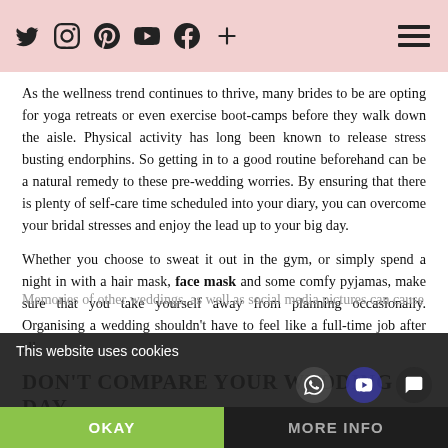Social icons (Twitter, Instagram, Pinterest, YouTube, Facebook, Plus) and hamburger menu
As the wellness trend continues to thrive, many brides to be are opting for yoga retreats or even exercise boot-camps before they walk down the aisle. Physical activity has long been known to release stress busting endorphins. So getting in to a good routine beforehand can be a natural remedy to these pre-wedding worries. By ensuring that there is plenty of self-care time scheduled into your diary, you can overcome your bridal stresses and enjoy the lead up to your big day.
Whether you choose to sweat it out in the gym, or simply spend a night in with a hair mask, face mask and some comfy pyjamas, make sure that you take yourself away from planning occasionally. Organising a wedding shouldn't have to feel like a full-time job after all.
DON'T COMPARE YOUR WEDDING DAY
Memories of other weddings, as well as social media pictures can cause
This website uses cookies
OKAY
MORE INFO